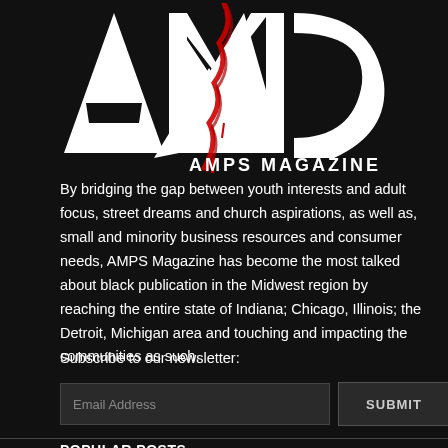[Figure (logo): AMPS Magazine logo with large stylized A M C letters in white with red grunge overlay and 'AMPS MAGAZINE' text below]
By bridging the gap between youth interests and adult focus, street dreams and church aspirations, as well as, small and minority business resources and consumer needs, AMPS Magazine has become the most talked about black publication in the Midwest region by reaching the entire state of Indiana; Chicago, Illinois; the Detroit, Michigan area and touching and impacting the communities as such.
Subscribe to our newsletter:
POPULAR POSTS